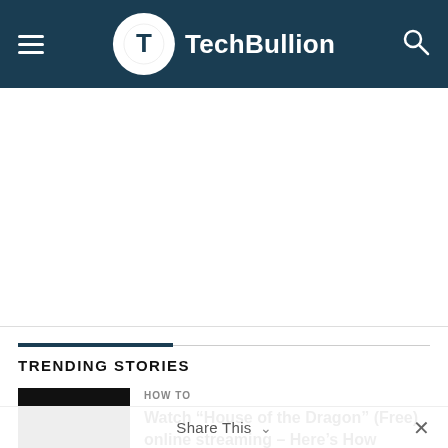TechBullion
[Figure (screenshot): White advertisement/content area placeholder]
TRENDING STORIES
HOW TO
Watch “House of the Dragon” (Free) online streaming – Here’s How
Share This